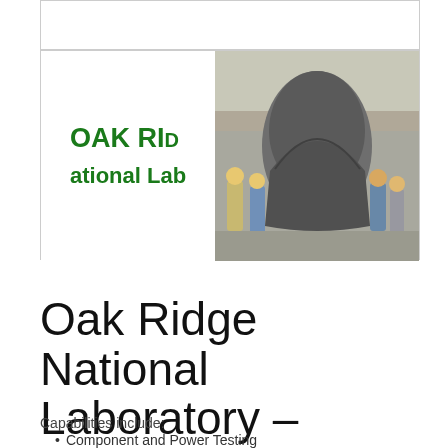[Figure (logo): Oak Ridge National Laboratory logo (green text) and a photo of people in a manufacturing facility with a large covered object]
Oak Ridge National Laboratory – Manufacturing Demonstration Facility
Capabilities include:
Component and Power Testing